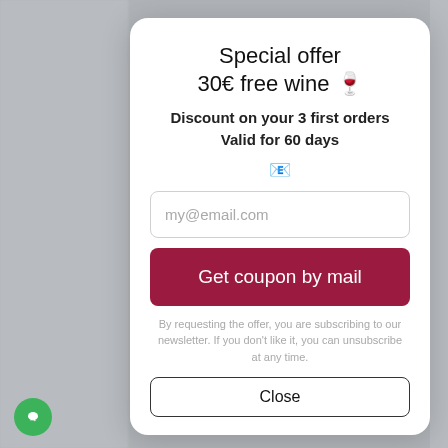Special offer
30€ free wine 🍷
Discount on your 3 first orders
Valid for 60 days
my@email.com
Get coupon by mail
By requesting the offer, you are subscribing to our newsletter. If you don't like it, you can unsubscribe at any time.
Close